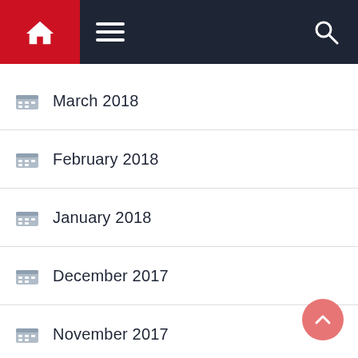Navigation header with home, menu, and search icons
March 2018
February 2018
January 2018
December 2017
November 2017
October 2017
September 2017
August 2017
July 2017